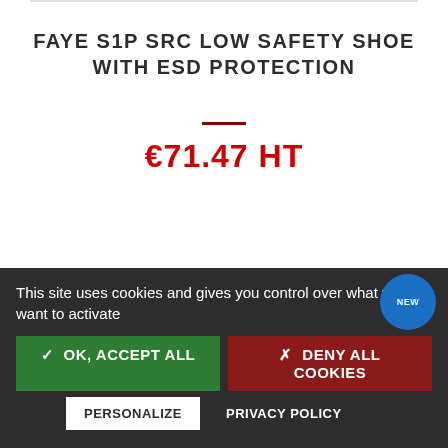FAYE S1P SRC LOW SAFETY SHOE WITH ESD PROTECTION
€71.47 HT
This site uses cookies and gives you control over what you want to activate
✓ OK, ACCEPT ALL
✗ DENY ALL COOKIES
PERSONALIZE
PRIVACY POLICY